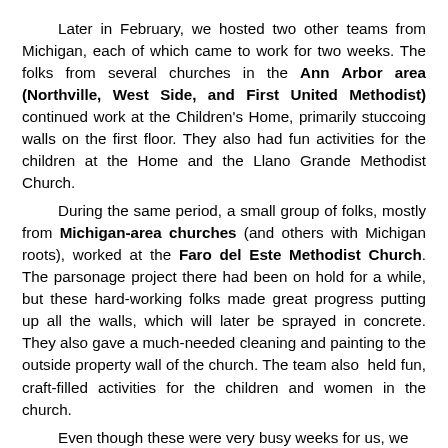Later in February, we hosted two other teams from Michigan, each of which came to work for two weeks.  The folks from several churches in the Ann Arbor area (Northville, West Side, and First United Methodist) continued work at the Children's Home, primarily stuccoing walls on the first floor.  They also had fun activities for the children at the Home and the Llano Grande Methodist Church.
During the same period, a small group of folks, mostly from Michigan-area churches (and others with Michigan roots), worked at the Faro del Este Methodist Church.  The parsonage project there had been on hold for a while, but these hard-working folks made great progress putting up all the walls, which will later be sprayed in concrete.  They also gave a much-needed cleaning and painting to the outside property wall of the church. The team also  held fun, craft-filled activities for the children and women in the church.
Even though these were very busy weeks for us, we